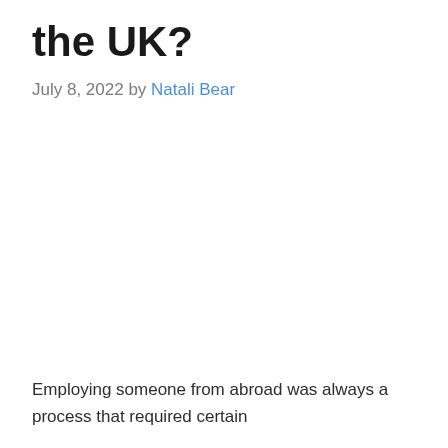the UK?
July 8, 2022 by Natali Bear
Employing someone from abroad was always a process that required certain